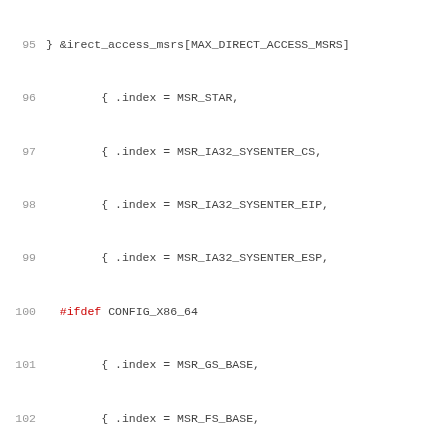[Figure (screenshot): Source code listing showing C array initialization with MSR (Model Specific Register) entries, lines 95-116, with preprocessor directives #ifdef CONFIG_X86_64 and #endif highlighted in red.]